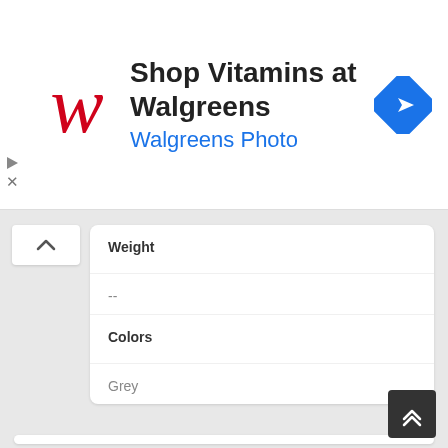[Figure (screenshot): Walgreens advertisement banner with red cursive W logo, text 'Shop Vitamins at Walgreens' and 'Walgreens Photo' in blue, and a blue diamond navigation arrow icon on the right]
| Weight |  |
| -- |  |
| Colors |  |
| Grey |  |
Display
| Display Type |  |
| --- | --- |
| OLED capacitive touchscreen |  |
| Size |  |